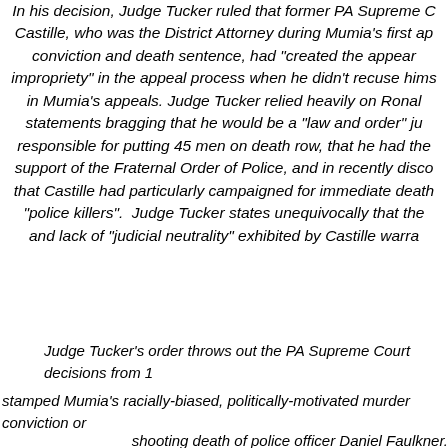In his decision, Judge Tucker ruled that former PA Supreme Court Chief Justice Castille, who was the District Attorney during Mumia's first appeal of his murder conviction and death sentence, had "created the appearance of impropriety" in the appeal process when he didn't recuse himself from participating in Mumia's appeals. Judge Tucker relied heavily on Ronald Castille's own statements bragging that he would be a "law and order" judge who was responsible for putting 45 men on death row, that he had the endorsement and support of the Fraternal Order of Police, and in recently discovered evidence that Castille had particularly campaigned for immediate death sentences for "police killers". Judge Tucker states unequivocally that the bias and lack of "judicial neutrality" exhibited by Castille warrants...
Judge Tucker's order throws out the PA Supreme Court decisions from 1...
stamped Mumia's racially-biased, politically-motivated murder conviction on...
shooting death of police officer Daniel Faulkner.
Judge Tucker's decision means that Mumia Abu-Jamal's pos...